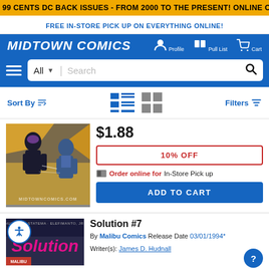99 CENTS DC BACK ISSUES - FROM 2000 TO THE PRESENT! ONLINE ONLY, TODAY ONLY!
FREE IN-STORE PICK UP ON EVERYTHING ONLINE!
MIDTOWN COMICS — Profile, Pull List, Cart
All Search
Sort By | Filters
[Figure (photo): Comic book cover showing action scene with costumed characters. Watermark: MIDTOWNCOMICS.COM]
$1.88
10% OFF
Order online for In-Store Pick up
ADD TO CART
Solution #7
By Malibu Comics Release Date 03/01/1994*
Writer(s): James D. Hudnall